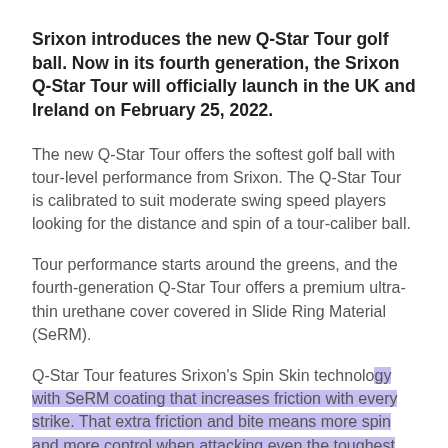Srixon introduces the new Q-Star Tour golf ball. Now in its fourth generation, the Srixon Q-Star Tour will officially launch in the UK and Ireland on February 25, 2022.
The new Q-Star Tour offers the softest golf ball with tour-level performance from Srixon. The Q-Star Tour is calibrated to suit moderate swing speed players looking for the distance and spin of a tour-caliber ball.
Tour performance starts around the greens, and the fourth-generation Q-Star Tour offers a premium ultra-thin urethane cover covered in Slide Ring Material (SeRM).
Q-Star Tour features Srixon's Spin Skin technology with SeRM coating that increases friction with every strike. That extra friction and bite means more spin and more control when attacking even the toughest pins.